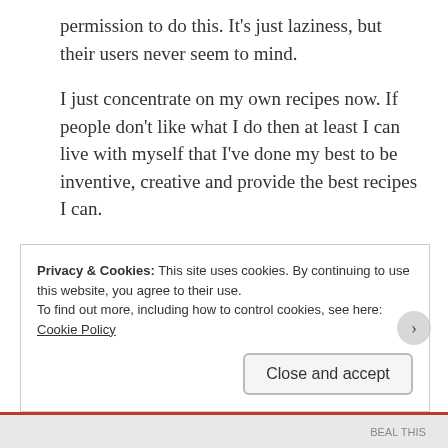permission to do this. It’s just laziness, but their users never seem to mind.
I just concentrate on my own recipes now. If people don’t like what I do then at least I can live with myself that I’ve done my best to be inventive, creative and provide the best recipes I can.
★ Like
Reply
Privacy & Cookies: This site uses cookies. By continuing to use this website, you agree to their use.
To find out more, including how to control cookies, see here:
Cookie Policy
Close and accept